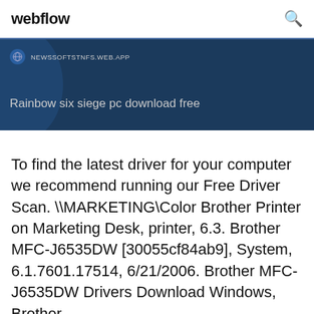webflow
[Figure (screenshot): Dark blue banner with URL bar showing NEWSSOFTSTNFS.WEB.APP and text 'Rainbow six siege pc download free']
To find the latest driver for your computer we recommend running our Free Driver Scan. \MARKETING\Color Brother Printer on Marketing Desk, printer, 6.3. Brother MFC-J6535DW [30055cf84ab9], System, 6.1.7601.17514, 6/21/2006. Brother MFC-J6535DW Drivers Download Windows, Brother